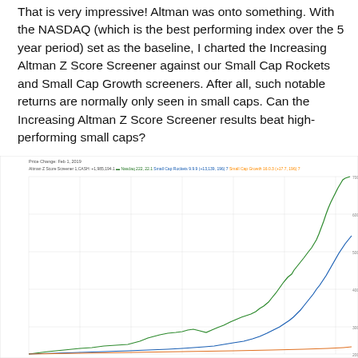That is very impressive! Altman was onto something. With the NASDAQ (which is the best performing index over the 5 year period) set as the baseline, I charted the Increasing Altman Z Score Screener against our Small Cap Rockets and Small Cap Growth screeners. After all, such notable returns are normally only seen in small caps. Can the Increasing Altman Z Score Screener results beat high-performing small caps?
[Figure (line-chart): Line chart showing performance comparison of NASDAQ, Small Cap Rockets, Small Cap Growth, and Increasing Altman Z Score Screener over a 5-year period. The green line (Small Cap Rockets or Altman Z Score) rises steeply to the upper right, the blue line (Small Cap Growth) rises moderately, and an orange line appears near the bottom right. Background has a white grid.]